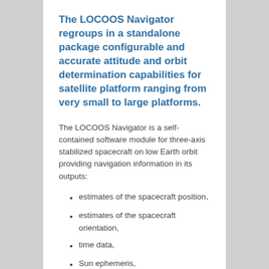The LOCOOS Navigator regroups in a standalone package configurable and accurate attitude and orbit determination capabilities for satellite platform ranging from very small to large platforms.
The LOCOOS Navigator is a self-contained software module for three-axis stabilized spacecraft on low Earth orbit providing navigation information in its outputs:
estimates of the spacecraft position,
estimates of the spacecraft orientation,
time data,
Sun ephemeris,